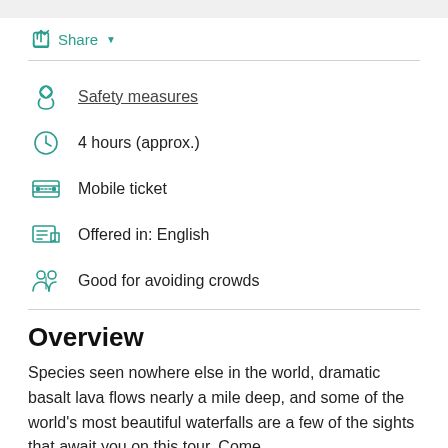Share
Safety measures
4 hours (approx.)
Mobile ticket
Offered in: English
Good for avoiding crowds
Overview
Species seen nowhere else in the world, dramatic basalt lava flows nearly a mile deep, and some of the world's most beautiful waterfalls are a few of the sights that await you on this tour. Come